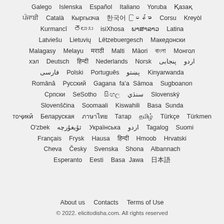Galego Islenska Español Italiano Yoruba Қазақ ਪੰਜਾਬੀ Català Кыргызча 한국어 မြန်မာ Corsu Kreyòl Kurmancî తెలుగు isiXhosa ພາສາລາວ Latina Latviešu Lietuvių Lëtzebuergesch Македонски Malagasy Melayu मराठी Malti Māori বাংলা Монгол хэл Deutsch हिन्दी Nederlands Norsk اردو پنجابی فارسی Polski Português پښتو Kinyarwanda Română Русский Gagana fa'a Sāmoa Sugboanon Српски SeSotho සිංහල سنڌي Slovenský Slovenščina Soomaali Kiswahili Basa Sunda тоҷикӣ Беларуская ภาษาไทย Татар தமிழ் Türkçe Türkmen O'zbek ئۇيغۇرچە Українська اردو Tagalog Suomi Français Frysk Hausa اردو Hmoob Hrvatski Cheva Česky Svenska Shona Albannach Esperanto Eesti Basa Jawa 日本語
About us   Contacts   Terms of Use
© 2022. elicitodisha.com. All rights reserved